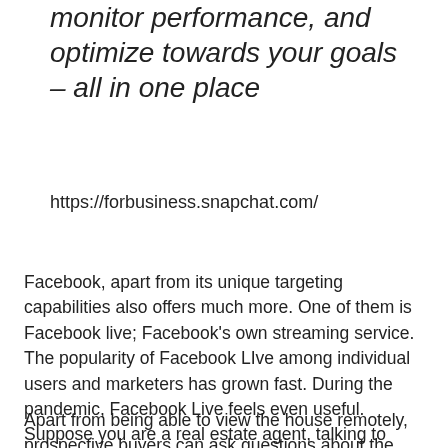monitor performance, and optimize towards your goals – all in one place
https://forbusiness.snapchat.com/
Facebook, apart from its unique targeting capabilities also offers much more. One of them is Facebook live; Facebook's own streaming service. The popularity of Facebook LIve among individual users and marketers has grown fast. During the pandemic, Facebook Live feels even useful. Suppose you are a real estate agent, talking to prospective buyers from a property through Facebook Live.
Apart from being able to view the house remotely, prospective buyers can ask questions about the property